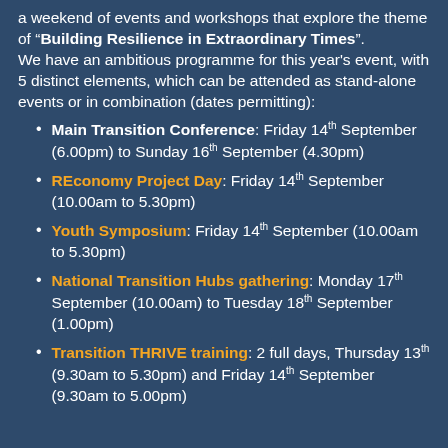a weekend of events and workshops that explore the theme of "Building Resilience in Extraordinary Times". We have an ambitious programme for this year's event, with 5 distinct elements, which can be attended as stand-alone events or in combination (dates permitting):
Main Transition Conference: Friday 14th September (6.00pm) to Sunday 16th September (4.30pm)
REconomy Project Day: Friday 14th September (10.00am to 5.30pm)
Youth Symposium: Friday 14th September (10.00am to 5.30pm)
National Transition Hubs gathering: Monday 17th September (10.00am) to Tuesday 18th September (1.00pm)
Transition THRIVE training: 2 full days, Thursday 13th (9.30am to 5.30pm) and Friday 14th September (9.30am to 5.00pm)